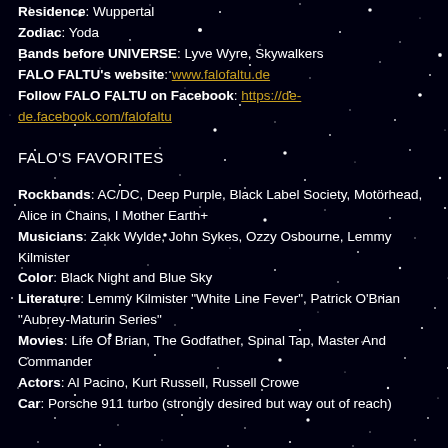Residence: Wuppertal
Zodiac: Yoda
Bands before UNIVERSE: Lyve Wyre, Skywalkers
FALO FALTU's website: www.falofaltu.de
Follow FALO FALTU on Facebook: https://de-de.facebook.com/falofaltu
FALO'S FAVORITES
Rockbands: AC/DC, Deep Purple, Black Label Society, Motörhead, Alice in Chains, I Mother Earth+
Musicians: Zakk Wylde, John Sykes, Ozzy Osbourne, Lemmy Kilmister
Color: Black Night and Blue Sky
Literature: Lemmy Kilmister "White Line Fever", Patrick O'Brian "Aubrey-Maturin Series"
Movies: Life Of Brian, The Godfather, Spinal Tap, Master And Commander
Actors: Al Pacino, Kurt Russell, Russell Crowe
Car: Porsche 911 turbo (strongly desired but way out of reach)